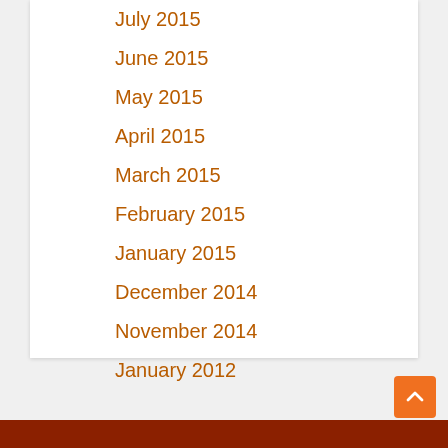July 2015
June 2015
May 2015
April 2015
March 2015
February 2015
January 2015
December 2014
November 2014
January 2012